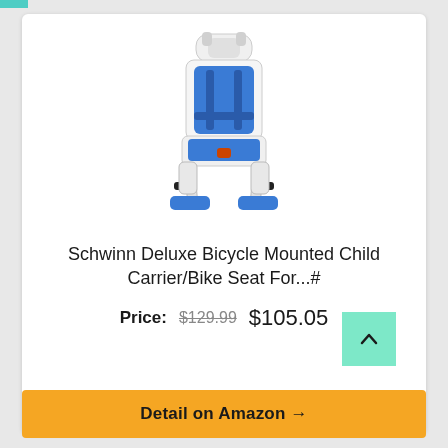[Figure (photo): Schwinn Deluxe Bicycle Mounted Child Carrier/Bike Seat product photo — a white child bicycle seat with blue padding, safety harness, footrests, and handlebar, viewed from a slight angle.]
Schwinn Deluxe Bicycle Mounted Child Carrier/Bike Seat For...#
Price: $129.99 $105.05
Detail on Amazon →